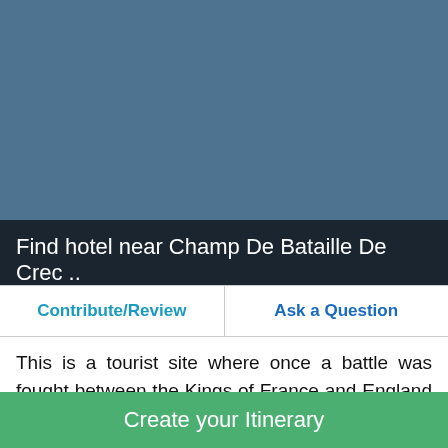[Figure (photo): Large rectangular photo area with a steel blue/teal solid color background representing a tourist site image placeholder]
Find hotel near Champ De Bataille De Crec ..
| Contribute/Review | Ask a Question |
| --- | --- |
This is a tourist site where once a battle was fought between the Kings of France and England in 1346. The tower here which must have been a witness to this great battle now stands alone amidst some nice views around. It is a good place to
Create your Itinerary